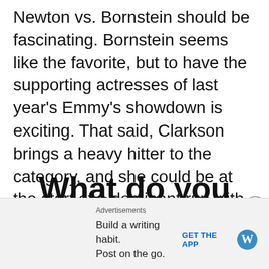Newton vs. Bornstein should be fascinating. Bornstein seems like the favorite, but to have the supporting actresses of last year's Emmy's showdown is exciting. That said, Clarkson brings a heavy hitter to the category, and she could be at the start of a dominant run with SAG and Emmy down the road.
What do you think of the nominations? Let
Advertisements
Build a writing habit. Post on the go.